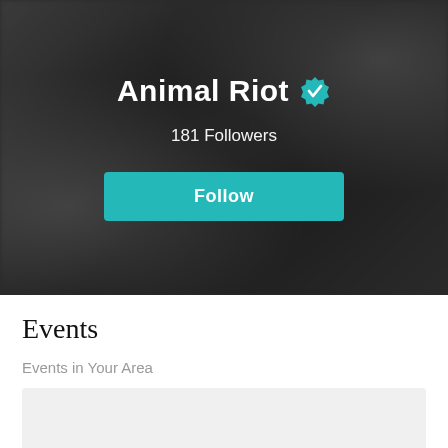[Figure (screenshot): Hero banner with blurred dark background showing artist profile]
Animal Riot ✓
181 Followers
Follow
Events
Events in Your Area
[Figure (other): Placeholder card area for events]